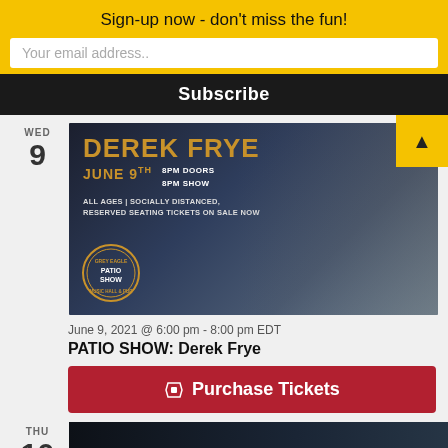Sign-up now - don't miss the fun!
Your email address..
Subscribe
[Figure (photo): Event promotional image for Derek Frye Patio Show at Grey Eagle, June 9th. Shows a man playing violin in a misty forest. Text overlay: DEREK FRYE, JUNE 9TH, 8PM DOORS, 8PM SHOW, ALL AGES | SOCIALLY DISTANCED, RESERVED SEATING TICKETS ON SALE NOW, GREY EAGLE PATIO SHOW MUSIC HALL & PUB]
June 9, 2021 @ 6:00 pm - 8:00 pm EDT
PATIO SHOW: Derek Frye
Purchase Tickets
[Figure (photo): Partial event image at bottom showing THE MAGGIE VALLEY BAND text on a dark background]